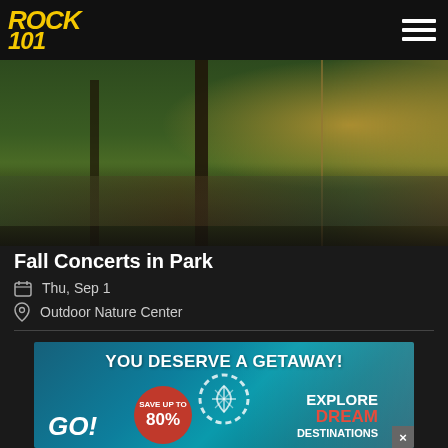ROCK 101
[Figure (photo): Outdoor crowd gathered at a park concert with trees and a lit pavilion/bandshell in the background]
Fall Concerts in Park
Thu, Sep 1
Outdoor Nature Center
[Figure (infographic): Advertisement banner: YOU DESERVE A GETAWAY! GO! SAVE UP TO 80% EXPLORE DREAM DESTINATIONS — travel deal promotion with ocean background and tropical icon]